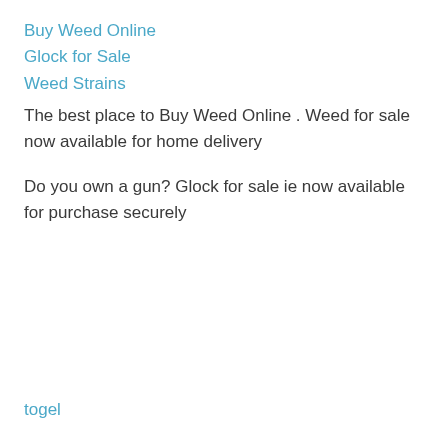Buy Weed Online
Glock for Sale
Weed Strains
The best place to Buy Weed Online . Weed for sale now available for home delivery
Do you own a gun? Glock for sale ie now available for purchase securely
togel